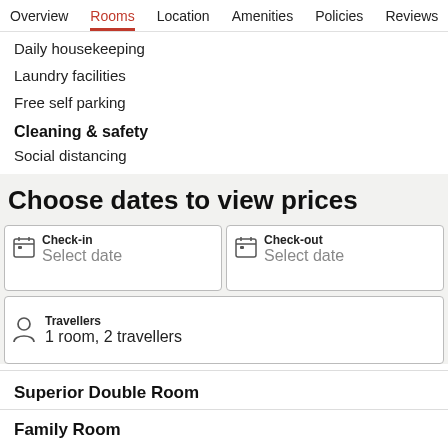Overview  Rooms  Location  Amenities  Policies  Reviews
Daily housekeeping
Laundry facilities
Free self parking
Cleaning & safety
Social distancing
Choose dates to view prices
Check-in  Select date
Check-out  Select date
Travellers  1 room, 2 travellers
Superior Double Room
Family Room